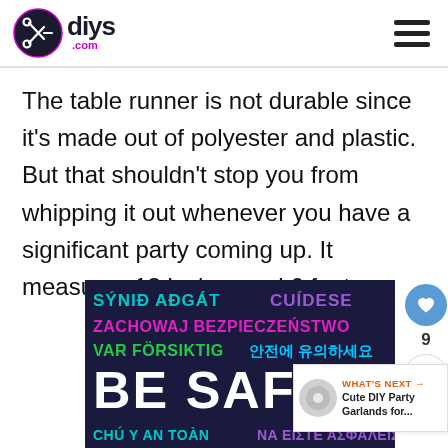diys.com
The table runner is not durable since it's made out of polyester and plastic. But that shouldn't stop you from whipping it out whenever you have a significant party coming up. It measures 13 inches and 6 feet.
[Figure (infographic): Dark navy background infographic with multilingual 'Be Safe' text in various colors: SÝNIÐ AÐGÁT (teal), CUÍDESE (purple), ZACHOWAJ BEZPIECZEŃSTWO (pink/magenta), VAR FÖRSIKTIG (green), 안전에 유의하세요 (cyan), BE SAFE (white, large), CHÚ Ý AN TOÀN (teal), ΝΑ ΕΙΣΤΕ ΑΣΦΑΛΕΙΣ (purple)]